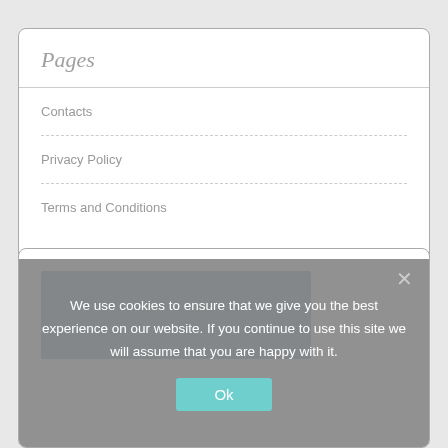Pages
Contacts
Privacy Policy
Terms and Conditions
[Figure (screenshot): Partial view of a card widget with a blue-grey image placeholder]
We use cookies to ensure that we give you the best experience on our website. If you continue to use this site we will assume that you are happy with it.